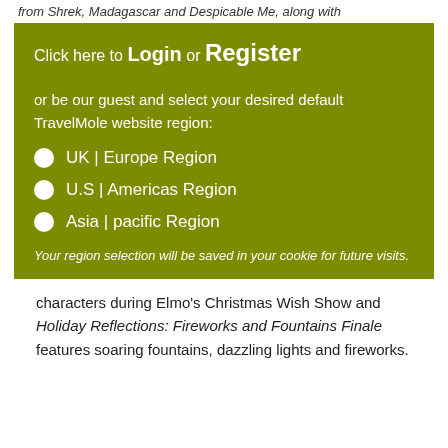from Shrek, Madagascar and Despicable Me, along with
Click here to Login or Register
or be our guest and select your desired default TravelMole website region:
UK | Europe Region
U.S | Americas Region
Asia | pacific Region
Your region selection will be saved in your cookie for future visits.
characters during Elmo's Christmas Wish Show and Holiday Reflections: Fireworks and Fountains Finale features soaring fountains, dazzling lights and fireworks.